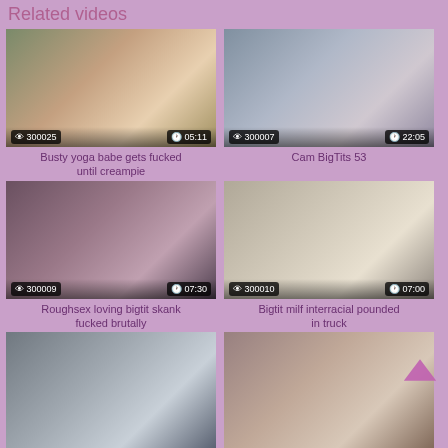Related videos
[Figure (photo): Video thumbnail - adult content]
300025  05:11
Busty yoga babe gets fucked until creampie
[Figure (photo): Video thumbnail - adult content]
300007  22:05
Cam BigTits 53
[Figure (photo): Video thumbnail - adult content]
300009  07:30
Roughsex loving bigtit skank fucked brutally
[Figure (photo): Video thumbnail - adult content]
300010  07:00
Bigtit milf interracial pounded in truck
[Figure (photo): Video thumbnail - adult content - partial]
[Figure (photo): Video thumbnail - adult content - partial]